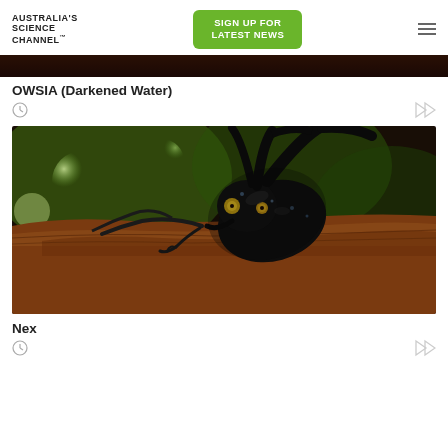[Figure (logo): Australia's Science Channel logo text]
[Figure (other): Sign up for latest news green button]
[Figure (photo): Close-up macro photo of a dark beetle on a piece of wood, with blurred green background]
OWSIA (Darkened Water)
Nex